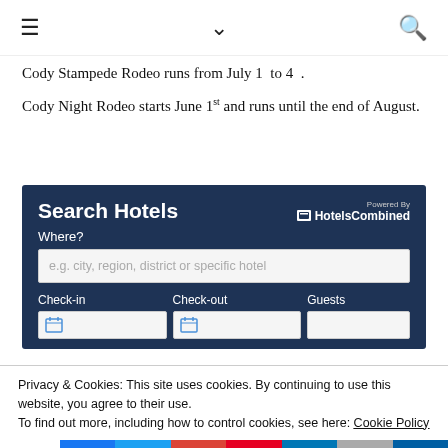☰ ∨ 🔍
Cody Stampede Rodeo runs from July 1 to 4.
Cody Night Rodeo starts June 1st and runs until the end of August.
[Figure (screenshot): Search Hotels widget with HotelsCombined branding, Where? input field, Check-in, Check-out, and Guests fields]
Privacy & Cookies: This site uses cookies. By continuing to use this website, you agree to their use. To find out more, including how to control cookies, see here: Cookie Policy
Shares | Facebook | Twitter | Google+ | Pinterest | LinkedIn | Print | Crown